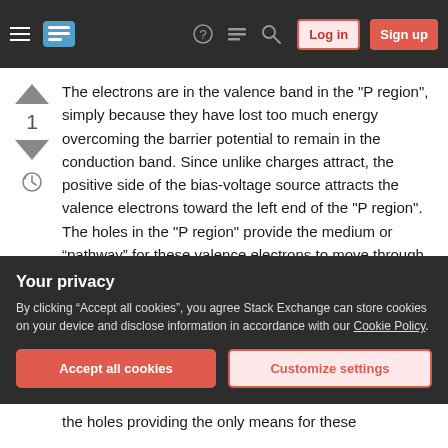Stack Exchange navigation bar with hamburger menu, logo, help, chat, search icons, Log in and Sign up buttons
The electrons are in the valence band in the "P region", simply because they have lost too much energy overcoming the barrier potential to remain in the conduction band. Since unlike charges attract, the positive side of the bias-voltage source attracts the valence electrons toward the left end of the "P region". The holes in the "P region" provide the medium or “pathway” for these valence electrons to move through the "P region".
The valence electrons move from one hole to the
Your privacy
By clicking “Accept all cookies”, you agree Stack Exchange can store cookies on your device and disclose information in accordance with our Cookie Policy.
Accept all cookies
Customize settings
the holes providing the only means for these